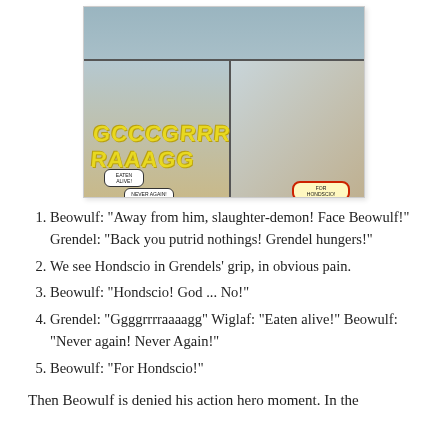[Figure (illustration): Comic book page panels showing Beowulf fighting Grendel. Top panel shows action scene. Bottom left panel has yellow sound text 'GCCCGRRRRAAAGG' and speech bubbles. Bottom right panel shows a character with 'FOR HONDSCIO!' speech bubble.]
Beowulf: "Away from him, slaughter-demon! Face Beowulf!" Grendel: "Back you putrid nothings! Grendel hungers!"
We see Hondscio in Grendels' grip, in obvious pain.
Beowulf: "Hondscio! God ... No!"
Grendel: "Ggggrrrraaaagg" Wiglaf: "Eaten alive!" Beowulf: "Never again! Never Again!"
Beowulf: "For Hondscio!"
Then Beowulf is denied his action hero moment. In the